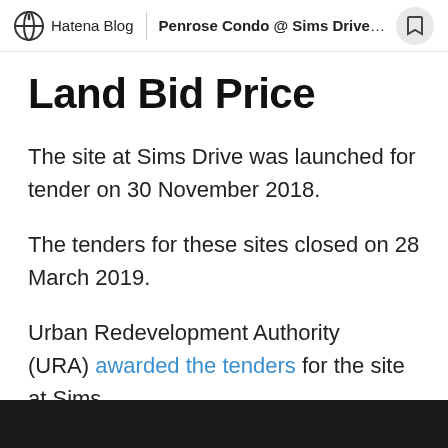Hatena Blog | Penrose Condo @ Sims Drive,...
Land Bid Price
The site at Sims Drive was launched for tender on 30 November 2018.
The tenders for these sites closed on 28 March 2019.
Urban Redevelopment Authority (URA) awarded the tenders for the site at Sims